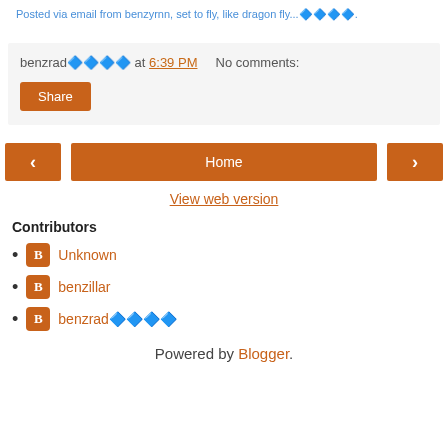Posted via email from benzyrnn, set to fly, like dragon fly...🔷🔷🔷🔷.
benzrad🔷🔷🔷🔷 at 6:39 PM   No comments:
Share
Home
View web version
Contributors
Unknown
benzillar
benzrad🔷🔷🔷🔷
Powered by Blogger.